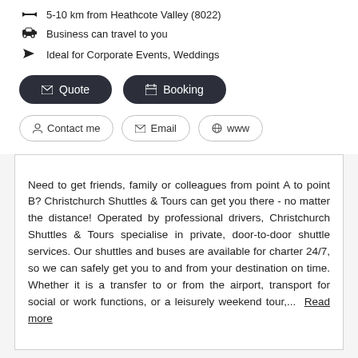5-10 km from Heathcote Valley (8022)
Business can travel to you
Ideal for Corporate Events, Weddings
Need to get friends, family or colleagues from point A to point B? Christchurch Shuttles & Tours can get you there - no matter the distance! Operated by professional drivers, Christchurch Shuttles & Tours specialise in private, door-to-door shuttle services. Our shuttles and buses are available for charter 24/7, so we can safely get you to and from your destination on time. Whether it is a transfer to or from the airport, transport for social or work functions, or a leisurely weekend tour,... Read more
Addington Print
Invitations & Stationery > Printing Services